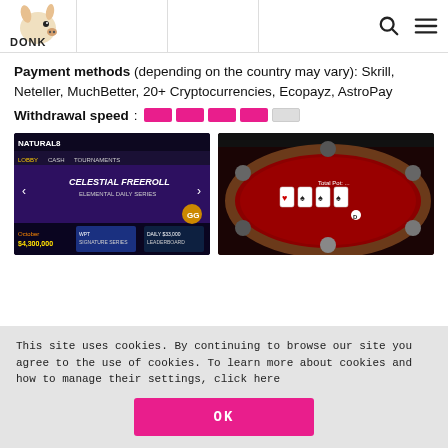Donk Hunter — navigation header with logo, search and menu icons
Payment methods (depending on the country may vary): Skrill, Neteller, MuchBetter, 20+ Cryptocurrencies, Ecopayz, AstroPay
Withdrawal speed : [4 filled bars, 1 empty bar rating]
[Figure (screenshot): Screenshot of Natural8 poker site homepage showing Celestial Freeroll promotion, WPT Signature Series, Daily $33,000 Leaderboard, and $4,300,000 promo text]
[Figure (screenshot): Screenshot of a poker table game interface showing cards on a red felt table with multiple players]
This site uses cookies. By continuing to browse our site you agree to the use of cookies. To learn more about cookies and how to manage their settings, click here
OK